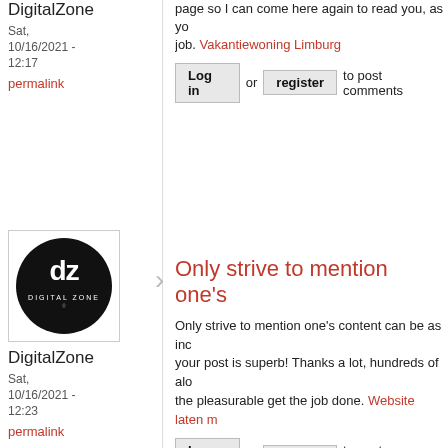page so I can come here again to read you, as you job. Vakantiewoning Limburg
Log in or register to post comments
[Figure (logo): DigitalZone logo: black circle with 'dz' monogram and 'DIGITAL ZONE' text]
DigitalZone
Sat, 10/16/2021 - 12:17
permalink
Only strive to mention one's
Only strive to mention one's content can be as inc your post is superb! Thanks a lot, hundreds of alo the pleasurable get the job done. Website laten m
Log in or register to post comments
[Figure (logo): DigitalZone logo: black circle with 'dz' monogram and 'DIGITAL ZONE' text]
DigitalZone
Sat, 10/16/2021 - 12:23
permalink
Thank you again for all the
Thank you again for all the knowledge you distribu interested in the article, it's quite inspiring I shoul site since I always come across interesting articles greatly appreciate that.Do Keep sharing! Regards,
[Figure (logo): DigitalZone logo: black circle with 'dz' monogram and 'DIGITAL ZONE' text]
DigitalZone